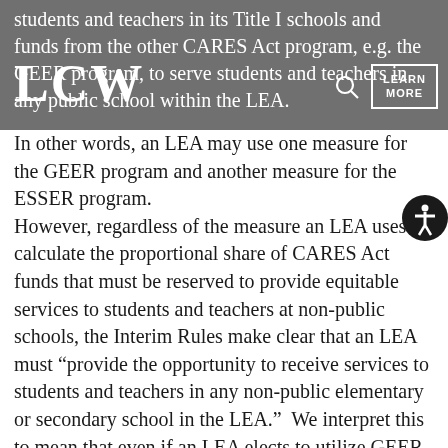students and teachers in its Title I schools and funds from the other CARES Act program, e.g. the GEER program, to serve students and teachers in any public school within the LEA.
In other words, an LEA may use one measure for the GEER program and another measure for the ESSER program.
However, regardless of the measure an LEA uses to calculate the proportional share of CARES Act funds that must be reserved to provide equitable services to students and teachers at non-public schools, the Interim Rules make clear that an LEA must “provide the opportunity to receive services to students and teachers in any non-public elementary or secondary school in the LEA.”  We interpret this to mean that even if an LEA elects to utilize GEER and/or ESSER funds to service students and teachers only at Title I schools, the LEA may not limit the delivery of equitable services to students and teachers at non-public schools based on the non-public school’s enrollment of students